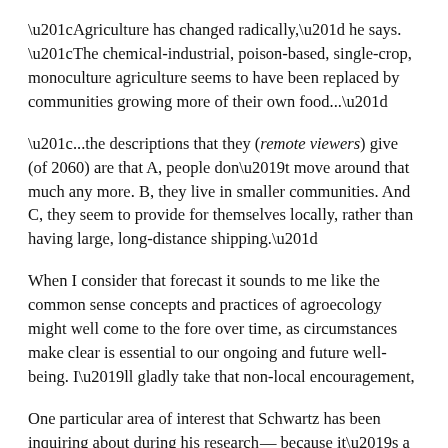“Agriculture has changed radically,” he says. “The chemical-industrial, poison-based, single-crop, monoculture agriculture seems to have been replaced by communities growing more of their own food...”
“...the descriptions that they (remote viewers) give (of 2060) are that A, people don’t move around that much any more. B, they live in smaller communities. And C, they seem to provide for themselves locally, rather than having large, long-distance shipping.”
When I consider that forecast it sounds to me like the common sense concepts and practices of agroecology might well come to the fore over time, as circumstances make clear is essential to our ongoing and future well-being. I’ll gladly take that non-local encouragement,
One particular area of interest that Schwartz has been inquiring about during his research—because it’s a personal